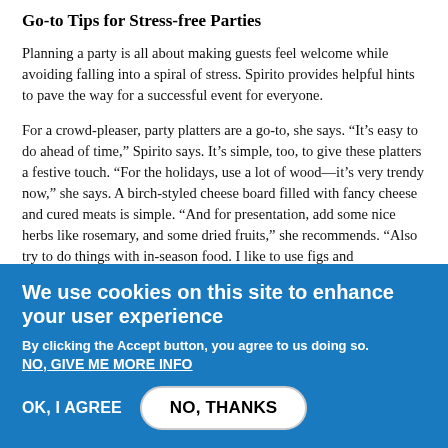Go-to Tips for Stress-free Parties
Planning a party is all about making guests feel welcome while avoiding falling into a spiral of stress. Spirito provides helpful hints to pave the way for a successful event for everyone.
For a crowd-pleaser, party platters are a go-to, she says. “It’s easy to do ahead of time,” Spirito says. It’s simple, too, to give these platters a festive touch. “For the holidays, use a lot of wood—it’s very trendy now,” she says. A birch-styled cheese board filled with fancy cheese and cured meats is simple. “And for presentation, add some nice herbs like rosemary, and some dried fruits,” she recommends. “Also try to do things with in-season food. I like to use figs and pomegranate.”
Spirito recommends using endive spears, filling them with
We use cookies on this site to enhance your user experience
By clicking the Accept button, you agree to us doing so.
NO, GIVE ME MORE INFO
OK, I AGREE
NO, THANKS